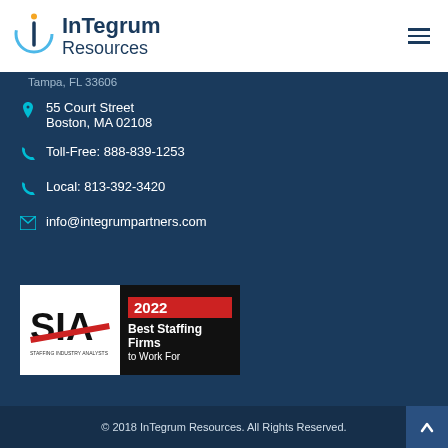[Figure (logo): InTegrum Resources logo with circular icon and company name]
Tampa, FL 33606
55 Court Street
Boston, MA 02108
Toll-Free: 888-839-1253
Local: 813-392-3420
info@integrumpartners.com
[Figure (logo): SIA Staffing Industry Analysts 2022 Best Staffing Firms to Work For badge]
© 2018 InTegrum Resources. All Rights Reserved.